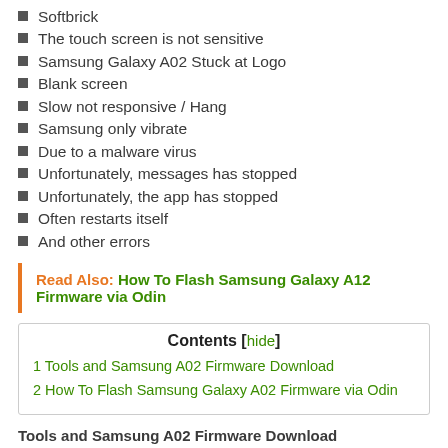Softbrick
The touch screen is not sensitive
Samsung Galaxy A02 Stuck at Logo
Blank screen
Slow not responsive / Hang
Samsung only vibrate
Due to a malware virus
Unfortunately, messages has stopped
Unfortunately, the app has stopped
Often restarts itself
And other errors
Read Also: How To Flash Samsung Galaxy A12 Firmware via Odin
| 1 Tools and Samsung A02 Firmware Download |
| 2 How To Flash Samsung Galaxy A02 Firmware via Odin |
Tools and Samsung A02 Firmware Download